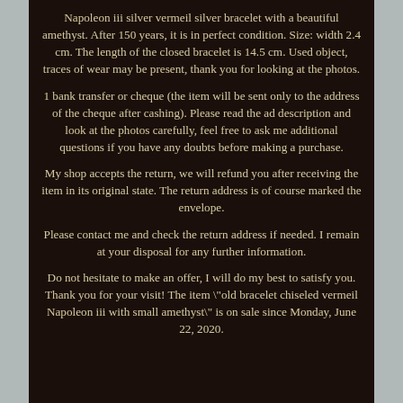Napoleon iii silver vermeil silver bracelet with a beautiful amethyst. After 150 years, it is in perfect condition. Size: width 2.4 cm. The length of the closed bracelet is 14.5 cm. Used object, traces of wear may be present, thank you for looking at the photos.
1 bank transfer or cheque (the item will be sent only to the address of the cheque after cashing). Please read the ad description and look at the photos carefully, feel free to ask me additional questions if you have any doubts before making a purchase.
My shop accepts the return, we will refund you after receiving the item in its original state. The return address is of course marked the envelope.
Please contact me and check the return address if needed. I remain at your disposal for any further information.
Do not hesitate to make an offer, I will do my best to satisfy you. Thank you for your visit! The item "old bracelet chiseled vermeil Napoleon iii with small amethyst" is on sale since Monday, June 22, 2020.